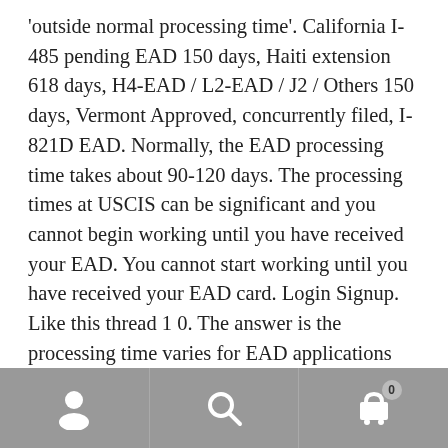'outside normal processing time'. California I-485 pending EAD 150 days, Haiti extension 618 days, H4-EAD / L2-EAD / J2 / Others 150 days, Vermont Approved, concurrently filed, I-821D EAD. Normally, the EAD processing time takes about 90-120 days. The processing times at USCIS can be significant and you cannot begin working until you have received your EAD. You cannot start working until you have received your EAD card. Login Signup. Like this thread 1 0. The answer is the processing time varies for EAD applications filed on form i-765 for different types of employment authorizations. USCIS can take 3 - 5 months or more to process an EAD application. The reason behind the question is in case she gets a long team J1, thereby my J2 will be of the same time as well. Use this receipt number to check the status of    AM22 Tech. Get the
[navigation bar with person, search, and cart icons]